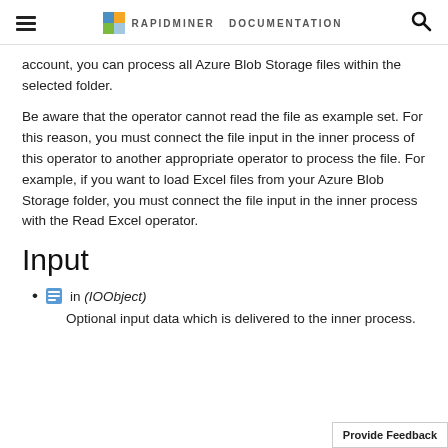RAPIDMINER DOCUMENTATION
account, you can process all Azure Blob Storage files within the selected folder.
Be aware that the operator cannot read the file as example set. For this reason, you must connect the file input in the inner process of this operator to another appropriate operator to process the file. For example, if you want to load Excel files from your Azure Blob Storage folder, you must connect the file input in the inner process with the Read Excel operator.
Input
in (IOObject)
Optional input data which is delivered to the inner process.